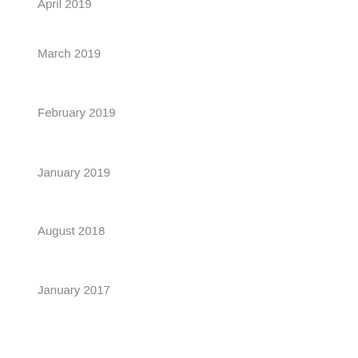April 2019
March 2019
February 2019
January 2019
August 2018
January 2017
October 2016
February 2015
September 2014
March 2014
June 2013
Categories
Change (10)
Climate Change (6)